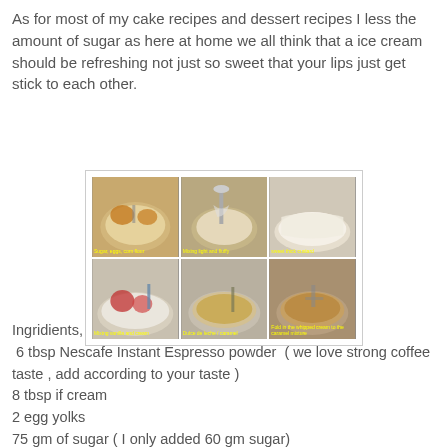As for most of my cake recipes and dessert recipes I less the amount of sugar as here at home we all think that a ice cream should be refreshing not just so sweet that your lips just get stick to each other.
[Figure (photo): Six-panel collage of ice cream preparation steps in bowls, showing sugar/egg mixture, mixing, cream, adding ingredients, dulce de leche, and final mixture with caramel.]
Ingridients,
 6 tbsp Nescafe Instant Espresso powder  ( we love strong coffee taste , add according to your taste )
8 tbsp if cream
2 egg yolks
75 gm of sugar ( I only added 60 gm sugar)
2 tsp of corn flour
300 ml milk